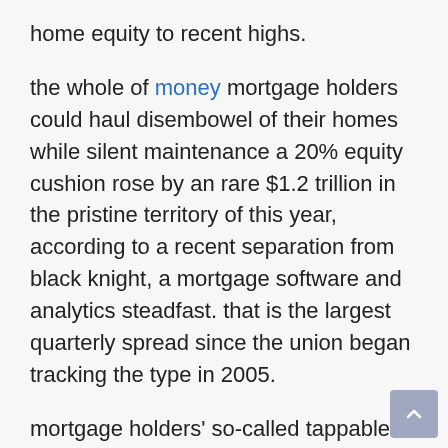home equity to recent highs.
the whole of money mortgage holders could haul disembowel of their homes while silent maintenance a 20% equity cushion rose by an rare $1.2 trillion in the pristine territory of this year, according to a recent separation from black knight, a mortgage software and analytics steadfast. that is the largest quarterly spread since the union began tracking the type in 2005.
mortgage holders' so-called tappable equity was up 34%, or by $2.8 trillion, in april compared with a year since. whole tappable equity stood at $11 trillion, or two times the prior peak in 2006. that works disembowel to